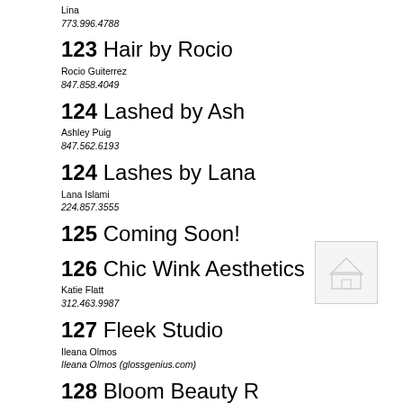Lina
773.996.4788
123 Hair by Rocio
Rocio Guiterrez
847.858.4049
124 Lashed by Ash
Ashley Puig
847.562.6193
124 Lashes by Lana
Lana Islami
224.857.3555
125 Coming Soon!
[Figure (illustration): Placeholder image with house/person icon]
126 Chic Wink Aesthetics
Katie Flatt
312.463.9987
127 Fleek Studio
Ileana Olmos
Ileana Olmos (glossgenius.com)
128 Bloom Beauty R...